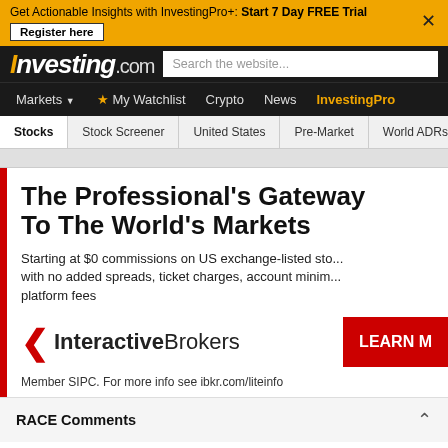Get Actionable Insights with InvestingPro+: Start 7 Day FREE Trial  Register here  ×
Investing.com  Search the website...
Markets  My Watchlist  Crypto  News  InvestingPro
Stocks  Stock Screener  United States  Pre-Market  World ADRs
[Figure (screenshot): Interactive Brokers advertisement: The Professional's Gateway To The World's Markets. Starting at $0 commissions on US exchange-listed stocks with no added spreads, ticket charges, account minimums or platform fees. Interactive Brokers logo. LEARN MORE button. Member SIPC. For more info see ibkr.com/liteinfo]
RACE Comments